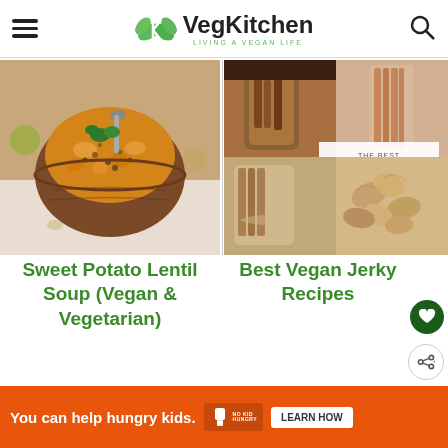VegKitchen — Living a Vegan Life
[Figure (photo): Bowl of sweet potato lentil soup in a wooden bowl with a spoon and parsley garnish]
[Figure (photo): Collage of vegan jerky recipes with text overlay: THE BEST VEGAN JERKY tasty & homemade]
Sweet Potato Lentil Soup (Vegan & Vegetarian)
Best Vegan Jerky Recipes
[Figure (other): Ad banner: You can help hungry kids. No Kid Hungry. LEARN HOW.]